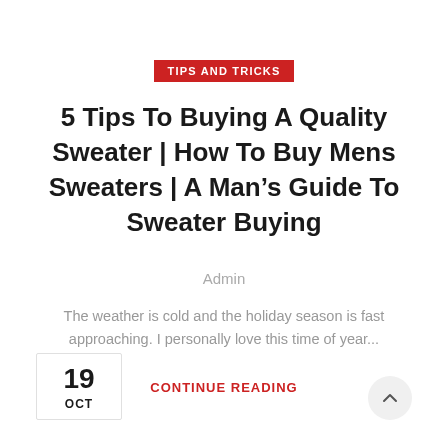TIPS AND TRICKS
5 Tips To Buying A Quality Sweater | How To Buy Mens Sweaters | A Man's Guide To Sweater Buying
Admin
The weather is cold and the holiday season is fast approaching. I personally love this time of year...
CONTINUE READING
19
OCT